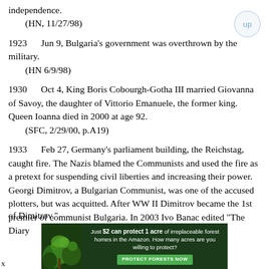independence.
    (HN, 11/27/98)
1923    Jun 9, Bulgaria's government was overthrown by the military.
    (HN 6/9/98)
1930    Oct 4, King Boris Cobourgh-Gotha III married Giovanna of Savoy, the daughter of Vittorio Emanuele, the former king. Queen Ioanna died in 2000 at age 92.
    (SFC, 2/29/00, p.A19)
1933    Feb 27, Germany's parliament building, the Reichstag, caught fire. The Nazis blamed the Communists and used the fire as a pretext for suspending civil liberties and increasing their power. Georgi Dimitrov, a Bulgarian Communist, was one of the accused plotters, but was acquitted. After WW II Dimitrov became the 1st premier of communist Bulgaria. In 2003 Ivo Banac edited "The Diary
[Figure (photo): Advertisement banner: forest/Amazon conservation ad. Text reads: 'Just $2 can protect 1 acre of irreplaceable forest homes in the Amazon. How many acres are you willing to protect?' with a green 'PROTECT FORESTS NOW' button.]